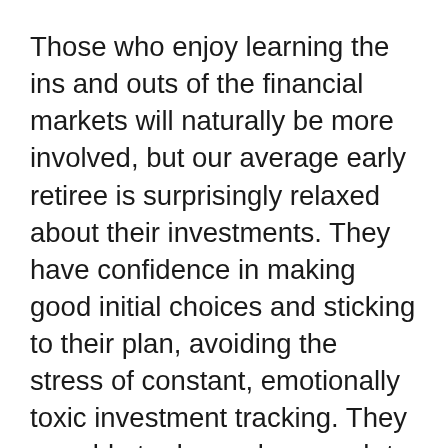Those who enjoy learning the ins and outs of the financial markets will naturally be more involved, but our average early retiree is surprisingly relaxed about their investments. They have confidence in making good initial choices and sticking to their plan, avoiding the stress of constant, emotionally toxic investment tracking. They are able to decouple enough to enjoy the satisfaction of a healthy portfolio without getting bound up in self-doubt with every market hiccup.
This doesn't mean they are naïve about money, far from it. It just means they don't tie their self-worth to their portfolio.